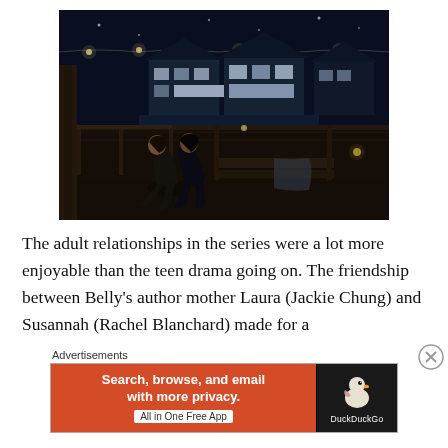[Figure (photo): Night scene showing two women sitting together on a wooden dock or deck, string lights overhead, large illuminated house visible in the background across water or lawn.]
The adult relationships in the series were a lot more enjoyable than the teen drama going on. The friendship between Belly’s author mother Laura (Jackie Chung) and Susannah (Rachel Blanchard) made for a
Advertisements
[Figure (screenshot): DuckDuckGo advertisement banner. Left side orange with text: 'Search, browse, and email with more privacy. All in One Free App'. Right side dark with DuckDuckGo duck logo and DuckDuckGo text.]